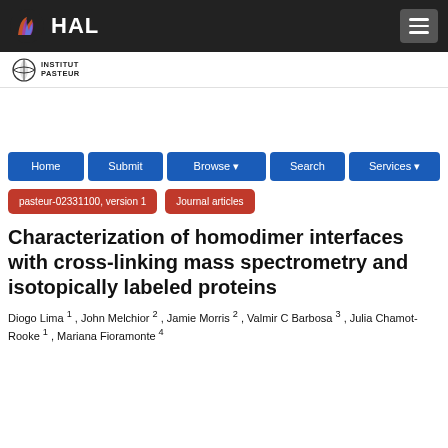[Figure (logo): HAL open archive logo with multicolored flame icon and white HAL text on dark background, with hamburger menu button]
[Figure (logo): Institut Pasteur logo - circular globe icon with INSTITUT PASTEUR text]
Home  Submit  Browse  Search  Services
pasteur-02331100, version 1   Journal articles
Characterization of homodimer interfaces with cross-linking mass spectrometry and isotopically labeled proteins
Diogo Lima 1 , John Melchior 2 , Jamie Morris 2 , Valmir C Barbosa 3 , Julia Chamot-Rooke 1 , Mariana Fioramonte 4